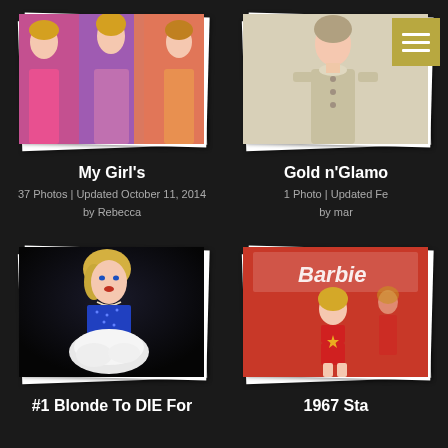[Figure (photo): Photo album card showing multiple Barbie dolls in colorful outfits, stacked polaroid style]
My Girl's
37 Photos | Updated October 11, 2014
by Rebecca
[Figure (photo): Photo album card showing a Barbie doll in cream/beige outfit with menu button overlay]
Gold n'Glamo
1 Photo | Updated Fe
by mar
[Figure (photo): Photo album card showing a blonde Barbie doll in blue strapless dress with white skirt]
#1 Blonde To DIE For
[Figure (photo): Photo album card showing a 1967 Barbie box and doll in red swimsuit]
1967 Sta